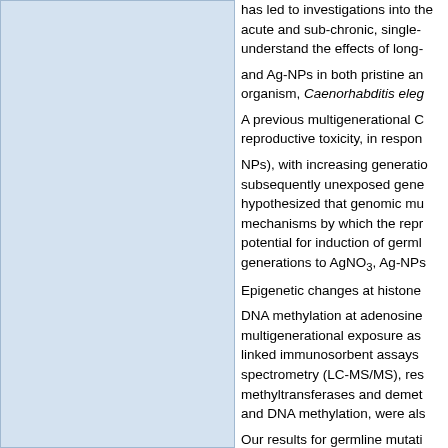[Figure (other): Light blue rectangular panel occupying the left portion of the page, with a blue border.]
has led to investigations into the acute and sub-chronic, single-understand the effects of long-
and Ag-NPs in both pristine an organism, Caenorhabditis eleg
A previous multigenerational C reproductive toxicity, in respon
NPs), with increasing generatio subsequently unexposed gene hypothesized that genomic mu mechanisms by which the repr potential for induction of germl generations to AgNO3, Ag-NPs
Epigenetic changes at histone
DNA methylation at adenosine multigenerational exposure as linked immunosorbent assays spectrometry (LC-MS/MS), res methyltransferases and demet and DNA methylation, were als
Our results for germline mutati nematodes exposed to AgNO3
significant increase in the num However, a trend toward an inc